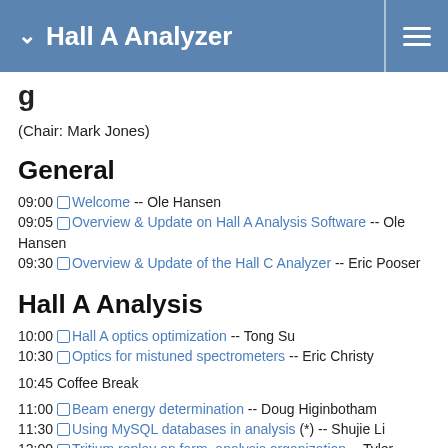Hall A Analyzer
g
(Chair: Mark Jones)
General
09:00  Welcome -- Ole Hansen
09:05  Overview & Update on Hall A Analysis Software -- Ole Hansen
09:30  Overview & Update of the Hall C Analyzer -- Eric Pooser
Hall A Analysis
10:00  Hall A optics optimization -- Tong Su
10:30  Optics for mistuned spectrometers -- Eric Christy
10:45 Coffee Break
11:00  Beam energy determination -- Doug Higinbotham
11:30  Using MySQL databases in analysis (*) -- Shujie Li
12:00  Tritium replay on farm, analysis organization -- Tyler Hague
12:30 Lunch (on your own)